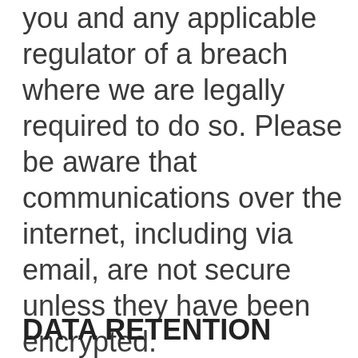you and any applicable regulator of a breach where we are legally required to do so. Please be aware that communications over the internet, including via email, are not secure unless they have been encrypted.
DATA RETENTION